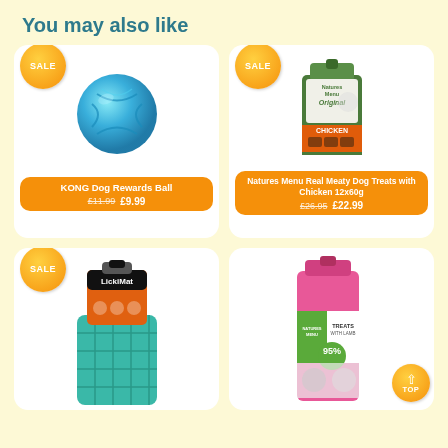You may also like
[Figure (photo): KONG blue rubber dog rewards ball toy]
KONG Dog Rewards Ball £11.99 £9.99
[Figure (photo): Natures Menu Original Chicken dog treats package (green and orange)]
Natures Menu Real Meaty Dog Treats with Chicken 12x60g £26.95 £22.99
[Figure (photo): LickiMat dog lick mat product in teal/orange packaging]
[Figure (photo): Pink packaged dog treats product]